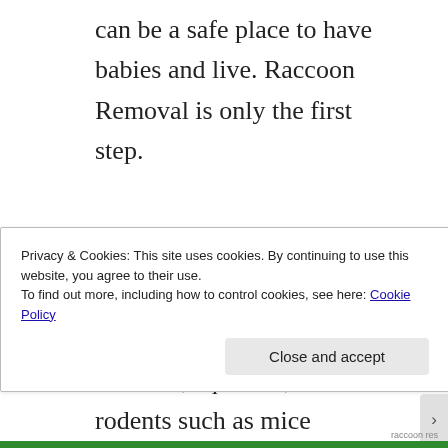can be a safe place to have babies and live. Raccoon Removal is only the first step.
Exclusion of the raccoon in the attic is Paramount to conclusion of issue. Whether it is bats, squirrels, raccoon or rodents such as mice
Privacy & Cookies: This site uses cookies. By continuing to use this website, you agree to their use.
To find out more, including how to control cookies, see here: Cookie Policy
Close and accept